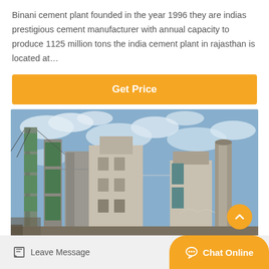Binani cement plant founded in the year 1996 they are indias prestigious cement manufacturer with annual capacity to produce 1125 million tons the india cement plant in rajasthan is located at…
[Figure (other): Get Price button — orange rounded rectangle with white bold text]
[Figure (photo): Photo of an industrial cement plant with tall towers, green panels, pipes, and a chimney against a partly cloudy blue sky]
Leave Message
Chat Online